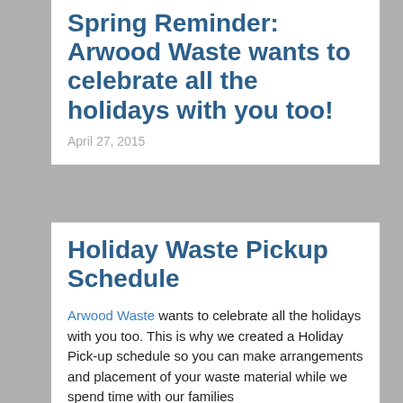Spring Reminder: Arwood Waste wants to celebrate all the holidays with you too!
April 27, 2015
Holiday Waste Pickup Schedule
Arwood Waste wants to celebrate all the holidays with you too. This is why we created a Holiday Pick-up schedule so you can make arrangements and placement of your waste material while we spend time with our families